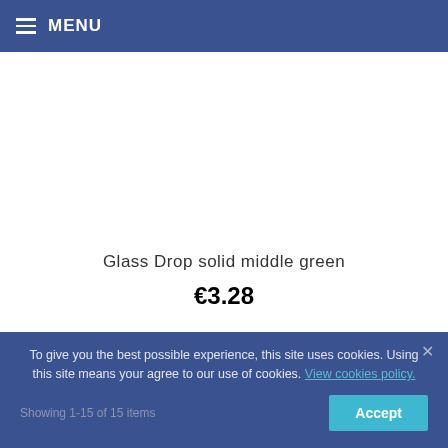MENU
Glass Drop solid middle green
€3.28
To give you the best possible experience, this site uses cookies. Using this site means your agree to our use of cookies. View cookies policy.
Showing 1-15 of 15 items
Accept